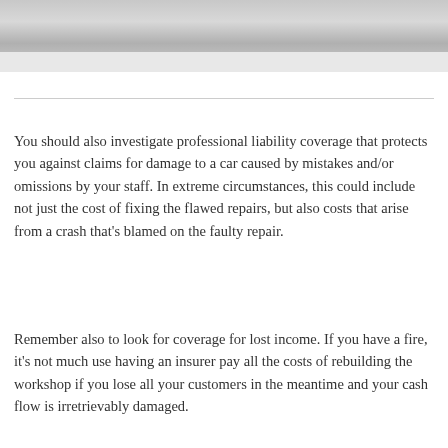[Figure (photo): Photograph of a car or automotive repair scene, partially visible at top of page]
You should also investigate professional liability coverage that protects you against claims for damage to a car caused by mistakes and/or omissions by your staff. In extreme circumstances, this could include not just the cost of fixing the flawed repairs, but also costs that arise from a crash that’s blamed on the faulty repair.
Remember also to look for coverage for lost income. If you have a fire, it’s not much use having an insurer pay all the costs of rebuilding the workshop if you lose all your customers in the meantime and your cash flow is irretrievably damaged.